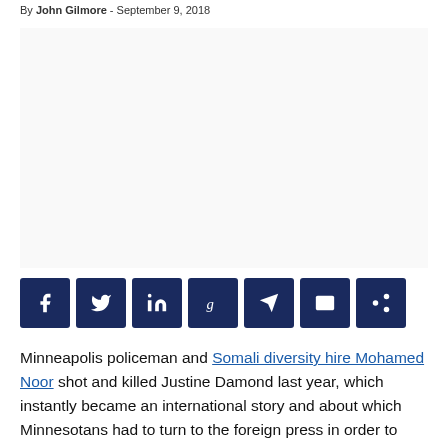By John Gilmore - September 9, 2018
[Figure (other): Advertisement or image placeholder area]
[Figure (other): Social sharing buttons: Facebook, Twitter, LinkedIn, Goodreads, Telegram, Email, Share]
Minneapolis policeman and Somali diversity hire Mohamed Noor shot and killed Justine Damond last year, which instantly became an international story and about which Minnesotans had to turn to the foreign press in order to stay